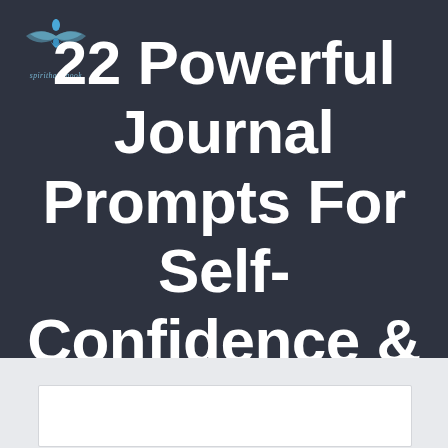[Figure (logo): Spirithandbook logo with stylized wings/lotus icon and italic text 'spirithandbook']
22 Powerful Journal Prompts For Self-Confidence & Self-Love